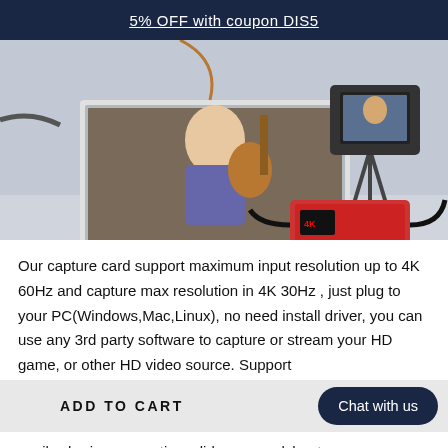5% OFF with coupon DIS5
[Figure (photo): Product photo showing a laptop and camera on a tripod connected to a 4K HDMI capture card device, with a woman playing guitar displayed on the laptop screen and camera screen]
Our capture card support maximum input resolution up to 4K 60Hz and capture max resolution in 4K 30Hz , just plug to your PC(Windows,Mac,Linux), no need install driver, you can use any 3rd party software to capture or stream your HD game, or other HD video source. Support
ADD TO CART
Chat with us
easily sharing presenting, slides, spreadsheets